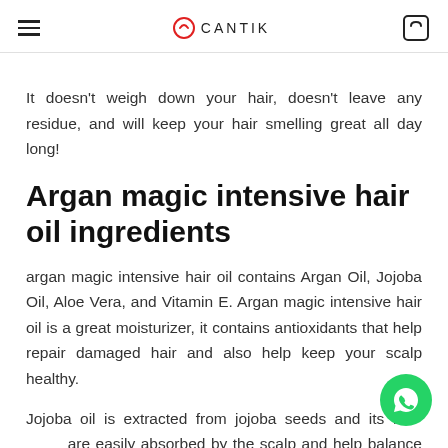CANTIK
It doesn’t weigh down your hair, doesn’t leave any residue, and will keep your hair smelling great all day long!
Argan magic intensive hair oil ingredients
argan magic intensive hair oil contains Argan Oil, Jojoba Oil, Aloe Vera, and Vitamin E. Argan magic intensive hair oil is a great moisturizer, it contains antioxidants that help repair damaged hair and also help keep your scalp healthy.
Jojoba oil is extracted from jojoba seeds and its fa… are easily absorbed by the scalp and help balance the pH